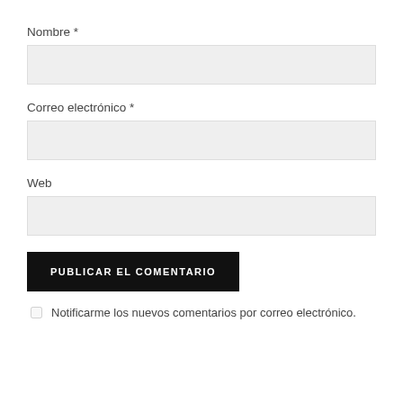Nombre *
[Figure (other): Text input field for Nombre (Name), empty, light gray background]
Correo electrónico *
[Figure (other): Text input field for Correo electrónico (Email), empty, light gray background]
Web
[Figure (other): Text input field for Web (Website URL), empty, light gray background]
PUBLICAR EL COMENTARIO
Notificarme los nuevos comentarios por correo electrónico.